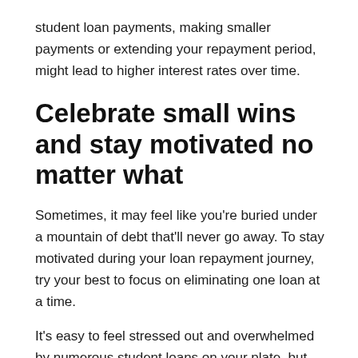student loan payments, making smaller payments or extending your repayment period, might lead to higher interest rates over time.
Celebrate small wins and stay motivated no matter what
Sometimes, it may feel like you're buried under a mountain of debt that'll never go away. To stay motivated during your loan repayment journey, try your best to focus on eliminating one loan at a time.
It's easy to feel stressed out and overwhelmed by numerous student loans on your plate, but celebrating small wins and creating milestones for yourself will help you stay on the right path.